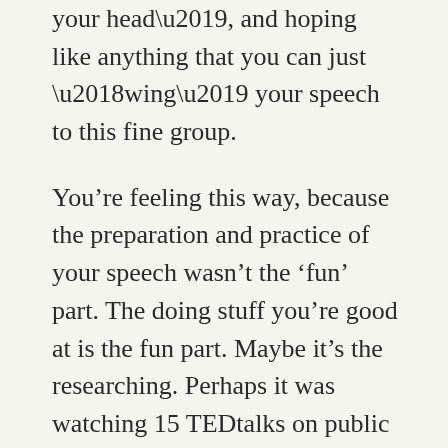your head’, and hoping like anything that you can just ‘wing’ your speech to this fine group.
You’re feeling this way, because the preparation and practice of your speech wasn’t the ‘fun’ part. The doing stuff you’re good at is the fun part. Maybe it’s the researching. Perhaps it was watching 15 TEDtalks on public speaking that was the fun part.
Regardless, you didn’t find the